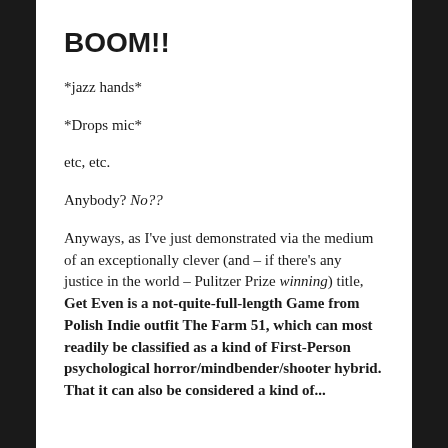BOOM!!
*jazz hands*
*Drops mic*
etc, etc.
Anybody? No??
Anyways, as I've just demonstrated via the medium of an exceptionally clever (and – if there's any justice in the world – Pulitzer Prize winning) title, Get Even is a not-quite-full-length Game from Polish Indie outfit The Farm 51, which can most readily be classified as a kind of First-Person psychological horror/mindbender/shooter hybrid. That it can also be considered a kind of...